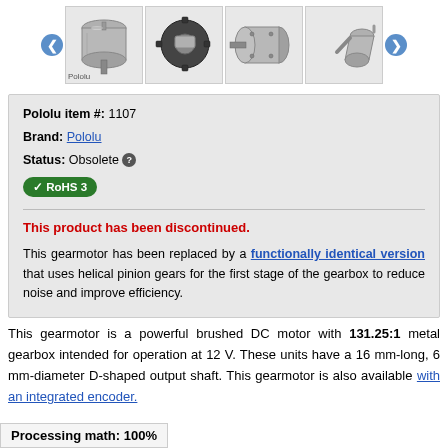[Figure (photo): Image carousel showing 4 product photos of a DC gearmotor from different angles, with left and right navigation arrows]
Pololu item #: 1107
Brand: Pololu
Status: Obsolete ℹ
✓ RoHS 3
This product has been discontinued.
This gearmotor has been replaced by a functionally identical version that uses helical pinion gears for the first stage of the gearbox to reduce noise and improve efficiency.
This gearmotor is a powerful brushed DC motor with 131.25:1 metal gearbox intended for operation at 12 V. These units have a 16 mm-long, 6 mm-diameter D-shaped output shaft. This gearmotor is also available with an integrated encoder.
Processing math: 100%